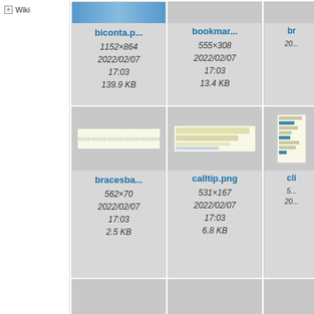Wiki
[Figure (screenshot): Thumbnail of biconta.p... image file, 1152×864, 2022/02/07 17:03, 139.9 KB]
[Figure (screenshot): Thumbnail of bookmar... image file, 555×308, 2022/02/07 17:03, 13.4 KB]
[Figure (screenshot): Thumbnail of br... image file (partial), date 20...]
[Figure (screenshot): Thumbnail of bracesba... image file, 562×70, 2022/02/07 17:03, 2.5 KB]
[Figure (screenshot): Thumbnail of calltip.png image file, 531×167, 2022/02/07 17:03, 6.8 KB]
[Figure (screenshot): Thumbnail of cli... image file (partial), 5..., 20...]
[Figure (screenshot): Bottom row card 1 (empty or partial)]
[Figure (screenshot): Bottom row card 2 with strip image]
[Figure (screenshot): Bottom row card 3 (partial)]